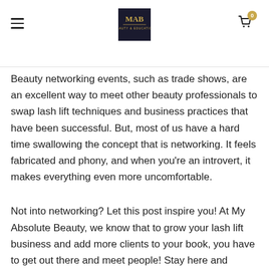MAB logo, hamburger menu, cart icon with badge 0
Beauty networking events, such as trade shows, are an excellent way to meet other beauty professionals to swap lash lift techniques and business practices that have been successful. But, most of us have a hard time swallowing the concept that is networking. It feels fabricated and phony, and when you're an introvert, it makes everything even more uncomfortable.
Not into networking? Let this post inspire you! At My Absolute Beauty, we know that to grow your lash lift business and add more clients to your book, you have to get out there and meet people! Stay here and gather ways to network in the beauty